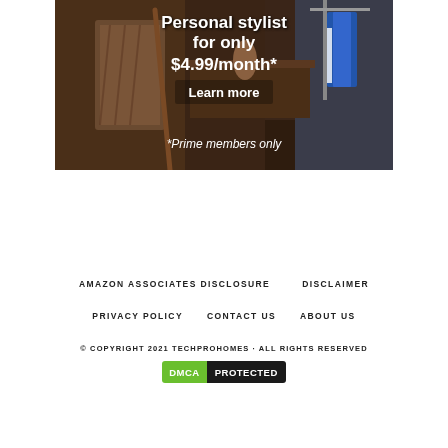[Figure (illustration): Amazon Personal Stylist advertisement banner showing a dark-toned room with plaid jacket and blue dress on clothing rack. Text reads: 'Personal stylist for only $4.99/month* Learn more *Prime members only']
AMAZON ASSOCIATES DISCLOSURE   DISCLAIMER   PRIVACY POLICY   CONTACT US   ABOUT US   © COPYRIGHT 2021 TECHPROHOMES · ALL RIGHTS RESERVED   DMCA PROTECTED